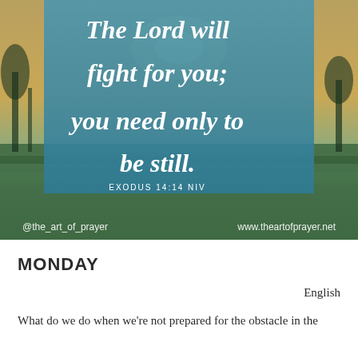[Figure (photo): Landscape photo of a field at sunset/sunrise with a semi-transparent blue overlay box containing the Bible verse 'The Lord will fight for you; you need only to be still.' attributed to EXODUS 14:14 NIV. Bottom of the image shows '@the_art_of_prayer' on the left and 'www.theartofprayer.net' on the right.]
MONDAY
English
What do we do when we're not prepared for the obstacle in the